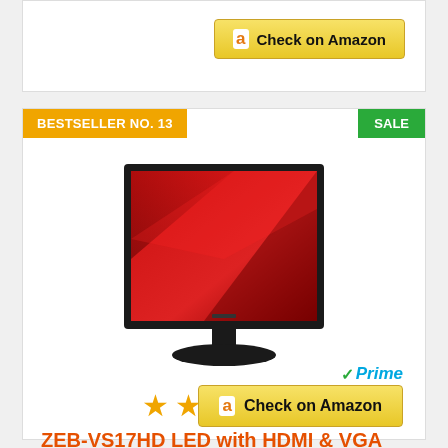[Figure (screenshot): Amazon 'Check on Amazon' button at top of page]
BESTSELLER NO. 13
SALE
[Figure (photo): ZEB-VS17HD LED monitor with red wallpaper on screen, black bezel, on stand]
[Figure (other): 4.5 out of 5 stars rating]
ZEB-VS17HD LED with HDMI & VGA
Prime
Check on Amazon